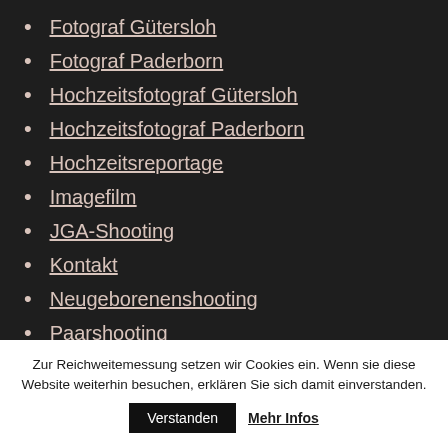Fotograf Gütersloh
Fotograf Paderborn
Hochzeitsfotograf Gütersloh
Hochzeitsfotograf Paderborn
Hochzeitsreportage
Imagefilm
JGA-Shooting
Kontakt
Neugeborenenshooting
Paarshooting
Zur Reichweitemessung setzen wir Cookies ein. Wenn sie diese Website weiterhin besuchen, erklären Sie sich damit einverstanden.
Verstanden
Mehr Infos